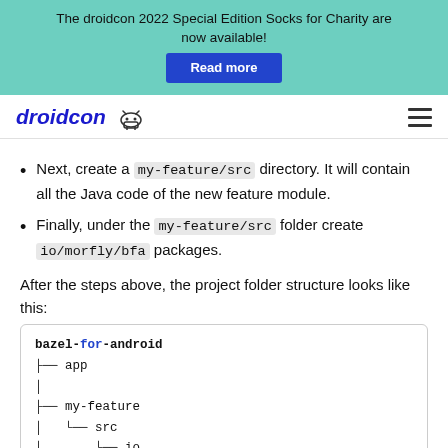The droidcon 2022 Special Edition Socks for Charity are now available! Read more
droidcon [logo]
Next, create a my-feature/src directory. It will contain all the Java code of the new feature module.
Finally, under the my-feature/src folder create io/morfly/bfa packages.
After the steps above, the project folder structure looks like this:
[Figure (screenshot): Code block showing folder structure: bazel-for-android with app, my-feature/src/io subdirectories using tree-style lines]